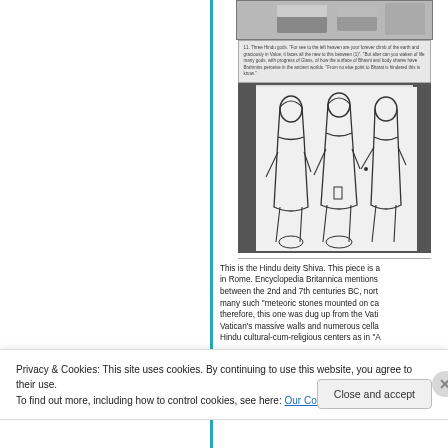[Figure (photo): Top portion of a black and white photograph strip showing objects]
[Figure (photo): A gray card with small printed text, appearing to be a caption or label card]
[Figure (illustration): Black and white line drawing showing three standing figures in robes, depicted in an ancient or classical style, representing the Hindu deity Shiva]
This is the Hindu deity Shiva. This piece is a in Rome. Encyclopedia Britannica mentions between the 2nd and 7th centuries BC, nort many such "meteoric stones mounted on ca therefore, this one was dug up from the Vati Vatican's massive walls and numerous cella Hindu cultural-cum-religious centers as in "A
Privacy & Cookies: This site uses cookies. By continuing to use this website, you agree to their use.
To find out more, including how to control cookies, see here: Our Cookie Policy
Close and accept